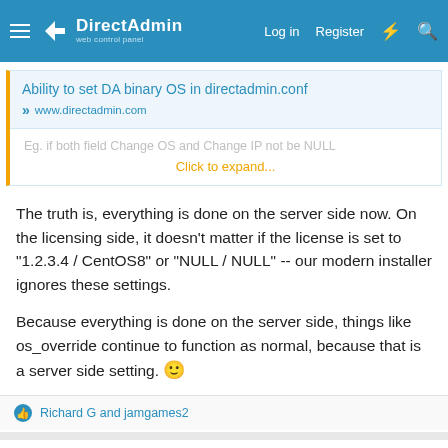DirectAdmin web control panel — Log in | Register
[Figure (screenshot): Quoted link card: 'Ability to set DA binary OS in directadmin.conf' from www.directadmin.com, with collapsed preview text 'Eg. if both field Change OS and Change IP not be NULL' and 'Click to expand...' link]
The truth is, everything is done on the server side now. On the licensing side, it doesn't matter if the license is set to "1.2.3.4 / CentOS8" or "NULL / NULL" -- our modern installer ignores these settings.
Because everything is done on the server side, things like os_override continue to function as normal, because that is a server side setting. 🙂
Richard G and jamgames2